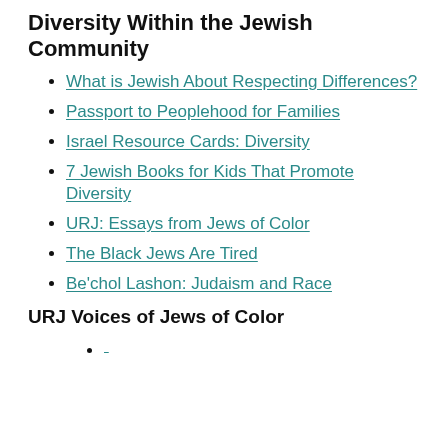Diversity Within the Jewish Community
What is Jewish About Respecting Differences?
Passport to Peoplehood for Families
Israel Resource Cards: Diversity
7 Jewish Books for Kids That Promote Diversity
URJ: Essays from Jews of Color
The Black Jews Are Tired
Be'chol Lashon: Judaism and Race
URJ Voices of Jews of Color
(partial link visible at bottom)